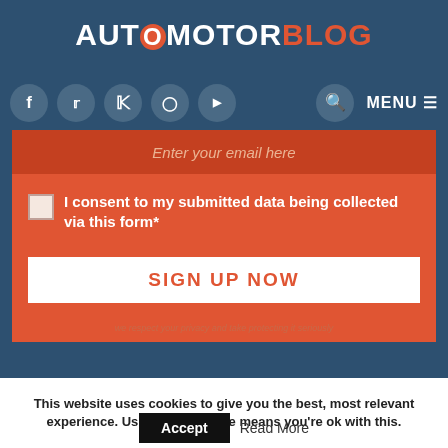AUTOMOTORBLOG
[Figure (screenshot): Navigation bar with social media icons (Facebook, Twitter, Pinterest, Instagram, YouTube), a search icon, and MENU button on dark blue background]
[Figure (screenshot): Email subscription form with orange background showing 'Enter your email here' input field, consent checkbox with text 'I consent to my submitted data being collected via this form*', and a SIGN UP NOW button]
This website uses cookies to give you the best, most relevant experience. Using this website means you're ok with this.
Accept   Read More